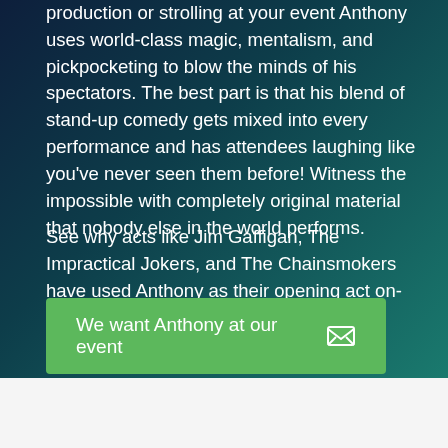production or strolling at your event Anthony uses world-class magic, mentalism, and pickpocketing to blow the minds of his spectators. The best part is that his blend of stand-up comedy gets mixed into every performance and has attendees laughing like you've never seen them before! Witness the impossible with completely original material that nobody else in the world performs.
See why acts like Jim Gaffigan, The Impractical Jokers, and The Chainsmokers have used Anthony as their opening act on-stage!
We want Anthony at our event
Virtual Options Available!